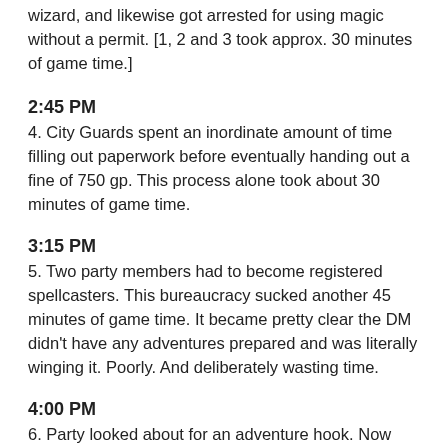wizard, and likewise got arrested for using magic without a permit. [1, 2 and 3 took approx. 30 minutes of game time.]
2:45 PM
4. City Guards spent an inordinate amount of time filling out paperwork before eventually handing out a fine of 750 gp. This process alone took about 30 minutes of game time.
3:15 PM
5. Two party members had to become registered spellcasters. This bureaucracy sucked another 45 minutes of game time. It became pretty clear the DM didn't have any adventures prepared and was literally winging it. Poorly. And deliberately wasting time.
4:00 PM
6. Party looked about for an adventure hook. Now usually DMs are happy to hand out adventure hooks left, right and center. Unfortunately he apparently wanted to railroad us into joining a local adventurers guild (which would have been more bureaucracy and the party was frankly tired of this bullshit). The DM made it very difficult but eventually we got